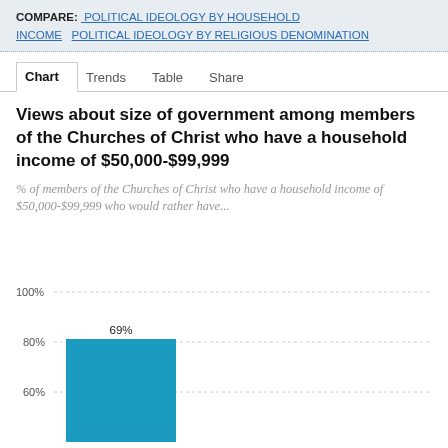COMPARE: POLITICAL IDEOLOGY BY HOUSEHOLD INCOME  POLITICAL IDEOLOGY BY RELIGIOUS DENOMINATION
Chart  Trends  Table  Share
Views about size of government among members of the Churches of Christ who have a household income of $50,000-$99,999
% of members of the Churches of Christ who have a household income of $50,000-$99,999 who would rather have...
[Figure (bar-chart): Views about size of government]